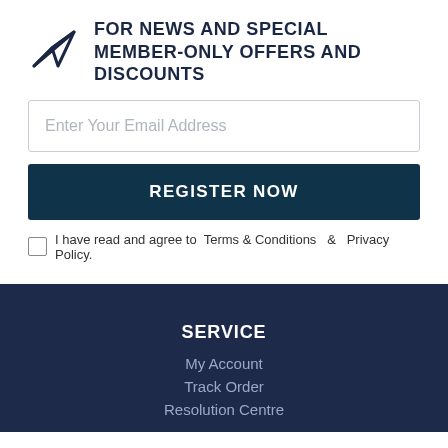FOR NEWS AND SPECIAL MEMBER-ONLY OFFERS AND DISCOUNTS
Enter Your Email Address
REGISTER NOW
I have read and agree to  Terms & Conditions  &  Privacy Policy.
SERVICE
My Account
Track Order
Resolution Centre
ABOUT US
About Us